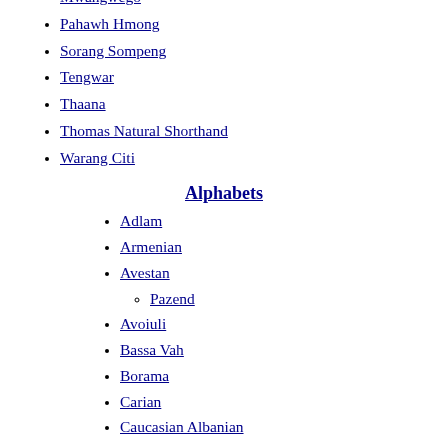Mwangwego
Pahawh Hmong
Sorang Sompeng
Tengwar
Thaana
Thomas Natural Shorthand
Warang Citi
Alphabets
Adlam
Armenian
Avestan
Pazend
Avoiuli
Bassa Vah
Borama
Carian
Caucasian Albanian
Cirth
Coelbren
Coorgi–Cox alphabet
Coptic
Cyrillic
Early
Deseret